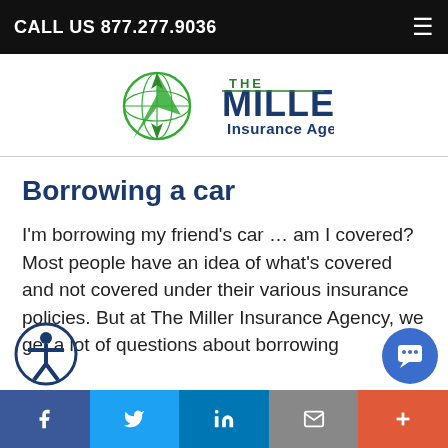CALL US 877.277.9036
[Figure (logo): The Miller Insurance Agency logo with compass graphic]
Borrowing a car
I'm borrowing my friend's car … am I covered? Most people have an idea of what's covered and not covered under their various insurance policies. But at The Miller Insurance Agency, we get a lot of questions about borrowing